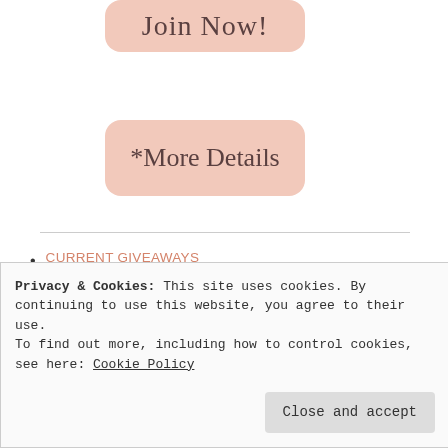[Figure (other): Pink rounded button with cursive text 'Join Now!']
[Figure (other): Pink rounded button with cursive text '*More Details']
CURRENT GIVEAWAYS
CATALOGS - Get Yours Here!
CLEARANCE RACK – Save up to 60% on select products while they last
STAMPIN' REWARDS - Orders over $150 receive $15+ additional free
Privacy & Cookies: This site uses cookies. By continuing to use this website, you agree to their use.
To find out more, including how to control cookies, see here: Cookie Policy
Close and accept